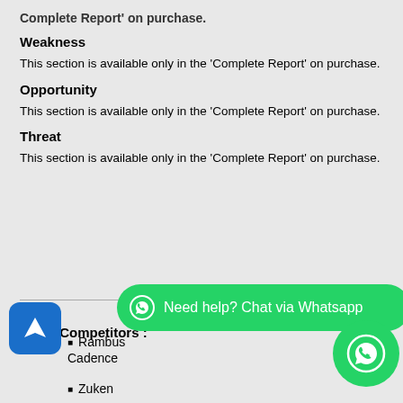Complete Report' on purchase.
Weakness
This section is available only in the 'Complete Report' on purchase.
Opportunity
This section is available only in the 'Complete Report' on purchase.
Threat
This section is available only in the 'Complete Report' on purchase.
Major Competitors :
Rambus
Cadence
Zuken